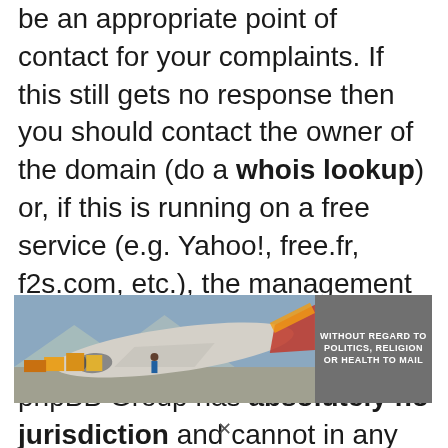be an appropriate point of contact for your complaints. If this still gets no response then you should contact the owner of the domain (do a whois lookup) or, if this is running on a free service (e.g. Yahoo!, free.fr, f2s.com, etc.), the management or abuse department of that service. Please note that the phpBB Group has absolutely no jurisdiction and cannot in any way be held liable over how...
[Figure (photo): Advertisement banner showing cargo being loaded onto a Southwest Airlines aircraft, with an overlay text panel reading 'WITHOUT REGARD TO POLITICS, RELIGION OR HEALTH TO MAIL']